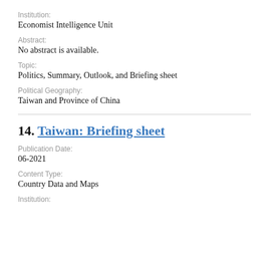Institution:
Economist Intelligence Unit
Abstract:
No abstract is available.
Topic:
Politics, Summary, Outlook, and Briefing sheet
Political Geography:
Taiwan and Province of China
14. Taiwan: Briefing sheet
Publication Date:
06-2021
Content Type:
Country Data and Maps
Institution: